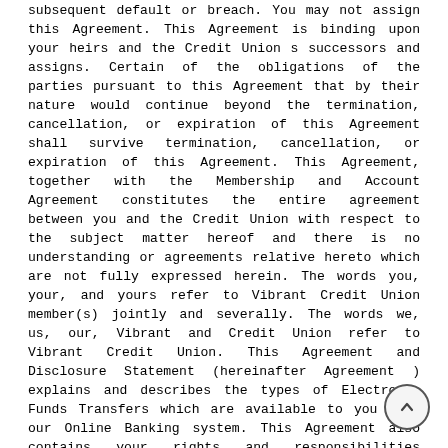subsequent default or breach. You may not assign this Agreement. This Agreement is binding upon your heirs and the Credit Union s successors and assigns. Certain of the obligations of the parties pursuant to this Agreement that by their nature would continue beyond the termination, cancellation, or expiration of this Agreement shall survive termination, cancellation, or expiration of this Agreement. This Agreement, together with the Membership and Account Agreement constitutes the entire agreement between you and the Credit Union with respect to the subject matter hereof and there is no understanding or agreements relative hereto which are not fully expressed herein. The words you, your, and yours refer to Vibrant Credit Union member(s) jointly and severally. The words we, us, our, Vibrant and Credit Union refer to Vibrant Credit Union. This Agreement and Disclosure Statement (hereinafter Agreement ) explains and describes the types of Electronic Funds Transfers which are available to you with our Online Banking system. This Agreement also contains your rights and responsibilities concerning transactions that you make through the Online Banking, including your rights under the Electronic Funds Transfer Act. To qualify for access to the Online Banking, you must